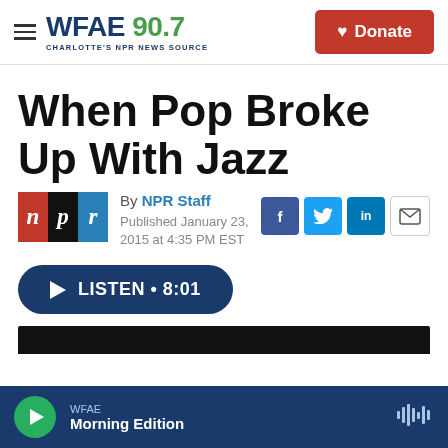WFAE 90.7 — CHARLOTTE'S NPR NEWS SOURCE | Donate
When Pop Broke Up With Jazz
By NPR Staff
Published January 23, 2015 at 4:35 PM EST
[Figure (logo): NPR logo with three colored squares: red N, black P, blue R]
LISTEN • 8:01
WFAE Morning Edition